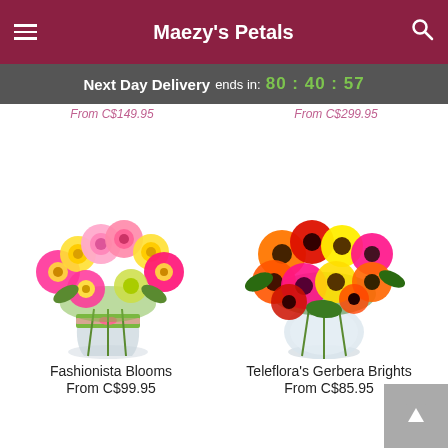Maezy's Petals
Next Day Delivery ends in: 80:40:57
[Figure (photo): Fashionista Blooms floral arrangement: colorful bouquet of pink, yellow roses and pink gerbera daisies in a ribbon-wrapped glass vase]
Fashionista Blooms
From C$99.95
[Figure (photo): Teleflora's Gerbera Brights floral arrangement: vibrant orange, red, yellow and pink gerbera daisies in a clear oval glass vase]
Teleflora's Gerbera Brights
From C$85.95